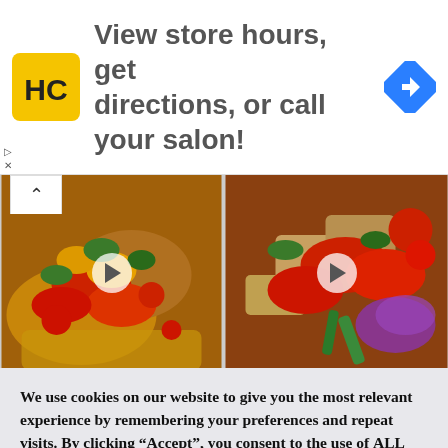[Figure (infographic): Advertisement banner: HC salon logo (yellow square with HC letters), text 'View store hours, get directions, or call your salon!', blue navigation diamond icon]
[Figure (photo): Two side-by-side food photos showing bruschetta/bread with tomatoes and vegetables, each with a play button overlay indicating video content]
We use cookies on our website to give you the most relevant experience by remembering your preferences and repeat visits. By clicking “Accept”, you consent to the use of ALL the cookies.
Do not sell my personal information.
Cookie Settings
Accept